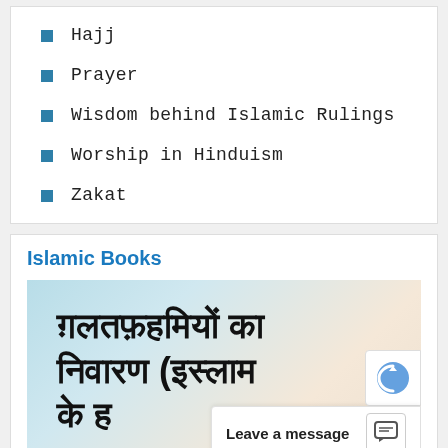Hajj
Prayer
Wisdom behind Islamic Rulings
Worship in Hinduism
Zakat
Islamic Books
[Figure (photo): Book cover image with Hindi text reading 'गलतफ़हमियों का निवारण (इस्लाम के...' on a light blue and cream gradient background]
Leave a message